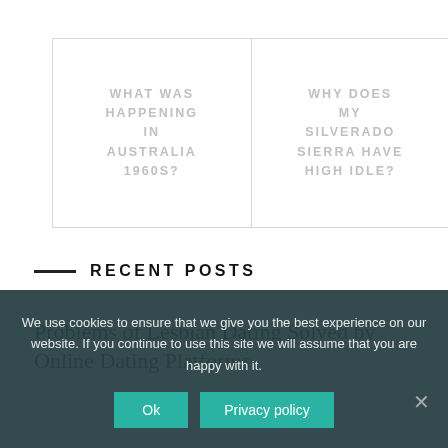[Figure (other): Two navigation card boxes side by side with light gray borders. Left card: 'WHAT WAS HAPPENING IN AUSTRALIA 1960S?' in gray uppercase text. Right card: 'WHY DOES MY SILVERADO SIERRA HAVE HIGH IDLE?' in gray uppercase text.]
RECENT POSTS
Problems of Lesbian Dating Solved by Online Dating Platforms
We use cookies to ensure that we give you the best experience on our website. If you continue to use this site we will assume that you are happy with it.